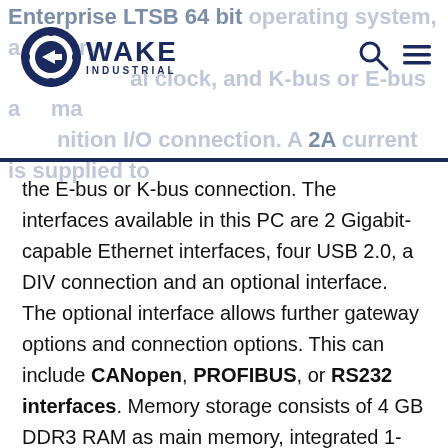Enterprise LTSB 64 bit operating system, a battery-backed real clock, and K-bus or E-bus automatic recognition I/O connection. A 2A current is supplied to
[Figure (logo): Wake Industrial logo — gear/arrow circular icon with WAKE INDUSTRIAL text]
the E-bus or K-bus connection. The interfaces available in this PC are 2 Gigabit-capable Ethernet interfaces, four USB 2.0, a DIV connection and an optional interface. The optional interface allows further gateway options and connection options. This can include CANopen, PROFIBUS, or RS232 interfaces. Memory storage consists of 4 GB DDR3 RAM as main memory, integrated 1-sec UPS for persistent memory, and slots for CFast and microSD cards for flash memory (cards not included).
The permissible conditions include a relative humidity of 95% without condensation, operating temperature of -25 to 60 degrees Celsius, and a storage